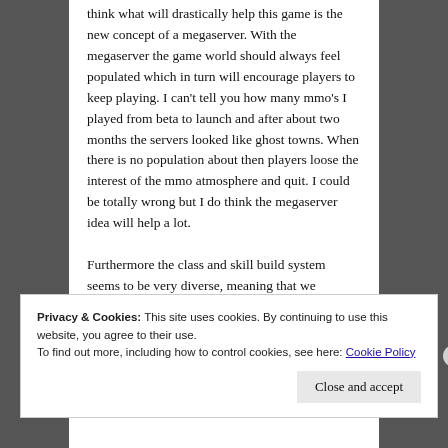think what will drastically help this game is the new concept of a megaserver. With the megaserver the game world should always feel populated which in turn will encourage players to keep playing. I can't tell you how many mmo's I played from beta to launch and after about two months the servers looked like ghost towns. When there is no population about then players loose the interest of the mmo atmosphere and quit. I could be totally wrong but I do think the megaserver idea will help a lot.
Furthermore the class and skill build system seems to be very diverse, meaning that we probably won't be seeing a lot of cookie cutter
Privacy & Cookies: This site uses cookies. By continuing to use this website, you agree to their use.
To find out more, including how to control cookies, see here: Cookie Policy
Close and accept